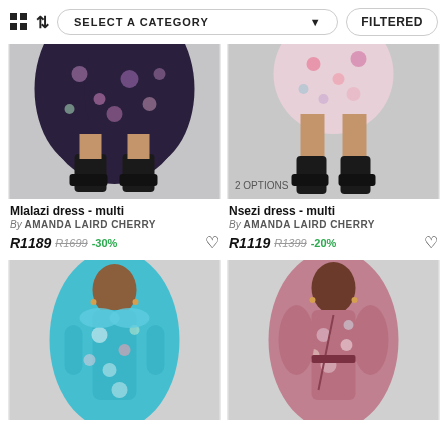SELECT A CATEGORY | FILTERED
[Figure (photo): Lower half of a dark floral print dress with black ankle boots on white background]
Mlalazi dress - multi
By AMANDA LAIRD CHERRY
R1189 R1699 -30%
[Figure (photo): Lower half of a floral mini dress with black ankle boots on white background, 2 OPTIONS badge]
Nsezi dress - multi
By AMANDA LAIRD CHERRY
R1119 R1399 -20%
[Figure (photo): Model wearing blue floral long dress, ON OFFER badge]
[Figure (photo): Model wearing pink floral wrap dress, LOW STOCK and ON OFFER badges]